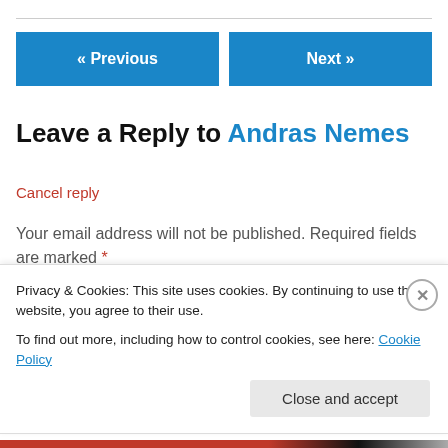« Previous
Next »
Leave a Reply to Andras Nemes
Cancel reply
Your email address will not be published. Required fields are marked *
Comment *
Privacy & Cookies: This site uses cookies. By continuing to use this website, you agree to their use.
To find out more, including how to control cookies, see here: Cookie Policy